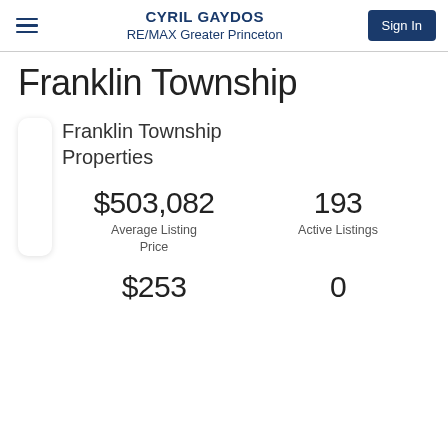CYRIL GAYDOS RE/MAX Greater Princeton Sign In
Franklin Township
Franklin Township Properties
$503,082 Average Listing Price
193 Active Listings
$253
0